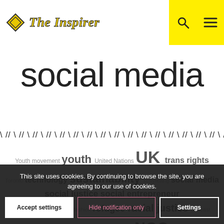The Inspirer
social media
[Figure (illustration): Decorative zigzag/wave pattern separator line]
Youth movement youth United Nations UK trans rights Toronto technology sustainability storytelling social media social justice social entrepreneur refugee racial justice podcast photojournalism philanthropy politics NGO mental wellness media lgbtq India health fashion farming Europe entrepreneurship
This site uses cookies. By continuing to browse the site, you are agreeing to our use of cookies.
Accept settings | Hide notification only | Settings